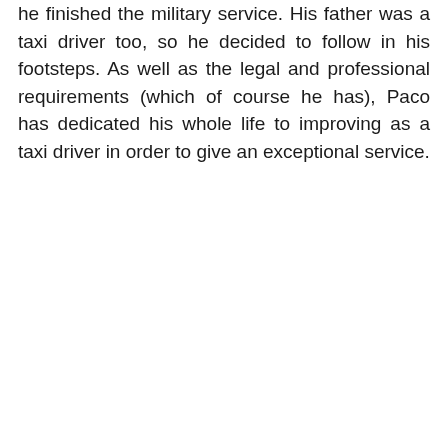he finished the military service. His father was a taxi driver too, so he decided to follow in his footsteps. As well as the legal and professional requirements (which of course he has), Paco has dedicated his whole life to improving as a taxi driver in order to give an exceptional service.